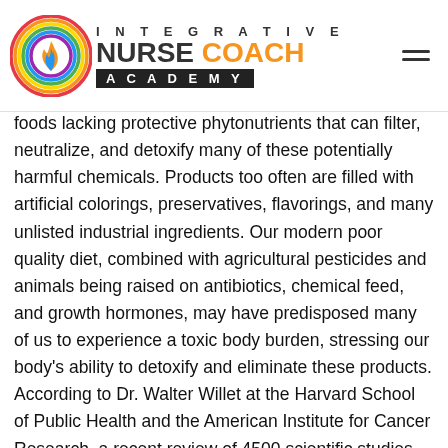INTEGRATIVE NURSE COACH ACADEMY
foods lacking protective phytonutrients that can filter, neutralize, and detoxify many of these potentially harmful chemicals. Products too often are filled with artificial colorings, preservatives, flavorings, and many unlisted industrial ingredients. Our modern poor quality diet, combined with agricultural pesticides and animals being raised on antibiotics, chemical feed, and growth hormones, may have predisposed many of us to experience a toxic body burden, stressing our body’s ability to detoxify and eliminate these products. According to Dr. Walter Willet at the Harvard School of Public Health and the American Institute for Cancer Research, a recent review of 4500 scientific studies concluded in a 650 page report that 40% of cancers are